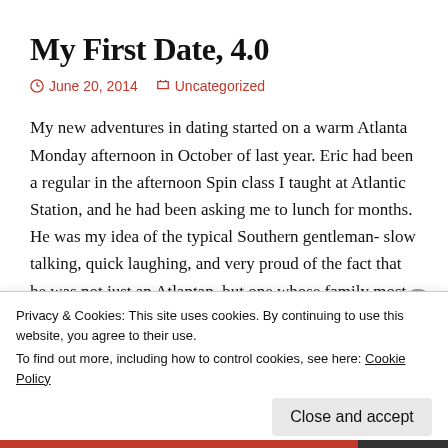My First Date, 4.0
June 20, 2014   Uncategorized
My new adventures in dating started on a warm Atlanta Monday afternoon in October of last year. Eric had been a regular in the afternoon Spin class I taught at Atlantic Station, and he had been asking me to lunch for months. He was my idea of the typical Southern gentleman- slow talking, quick laughing, and very proud of the fact that he was not just an Atlantan, but one whose family most likely served sweet tea to Sherman. I made one thing clear to Eric
Privacy & Cookies: This site uses cookies. By continuing to use this website, you agree to their use. To find out more, including how to control cookies, see here: Cookie Policy